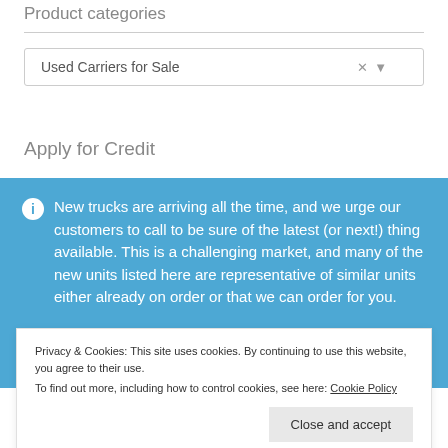Product categories
Used Carriers for Sale
Apply for Credit
New trucks are arriving all the time, and we urge our customers to call to be sure of the latest (or next!) thing available. This is a challenging market, and many of the new units listed here are representative of similar units either already on order or that we can order for you.
Privacy & Cookies: This site uses cookies. By continuing to use this website, you agree to their use. To find out more, including how to control cookies, see here: Cookie Policy
Close and accept